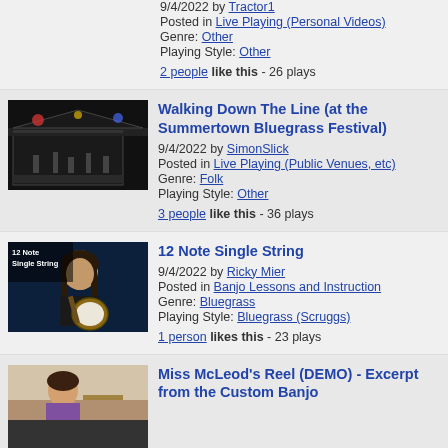9/4/2022 by Tractor1
Posted in Live Playing (Personal Videos)
Genre: Other
Playing Style: Other
2 people like this - 26 plays
[Figure (photo): Night stage photo from Summertown Bluegrass Festival with performers under lights]
Walking Down The Line (at the Summertown Bluegrass Festival)
9/4/2022 by SimonSlick
Posted in Live Playing (Public Venues, etc)
Genre: Folk
Playing Style: Other
3 people like this - 36 plays
[Figure (photo): Man with long hair playing banjo, text overlay reads 12 Note Single String]
12 Note Single String
9/4/2022 by Ricky Mier
Posted in Banjo Lessons and Instruction
Genre: Bluegrass
Playing Style: Bluegrass (Scruggs)
1 person likes this - 23 plays
[Figure (photo): Person in kitchen with banjo, partial view]
Miss McLeod's Reel (DEMO) - Excerpt from the Custom Banjo